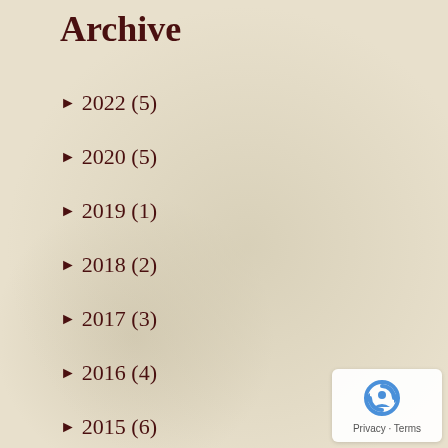Archive
► 2022 (5)
► 2020 (5)
► 2019 (1)
► 2018 (2)
► 2017 (3)
► 2016 (4)
► 2015 (6)
► 2014 (12)
► 2013 (17)
► 2012 (20)
► 2011 (7)